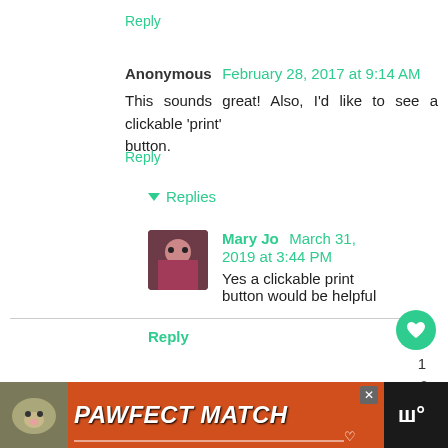Reply
Anonymous  February 28, 2017 at 9:14 AM
This sounds great! Also, I'd like to see a clickable 'print' button.
Reply
Replies
Mary Jo  March 31, 2019 at 3:44 PM
Yes a clickable print button would be helpful
Reply
Enter Comment
[Figure (screenshot): Advertisement banner: PAWFECT MATCH with cat image on orange/red background]